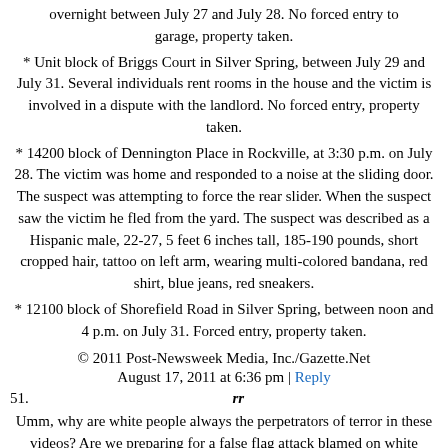overnight between July 27 and July 28. No forced entry to garage, property taken.
* Unit block of Briggs Court in Silver Spring, between July 29 and July 31. Several individuals rent rooms in the house and the victim is involved in a dispute with the landlord. No forced entry, property taken.
* 14200 block of Dennington Place in Rockville, at 3:30 p.m. on July 28. The victim was home and responded to a noise at the sliding door. The suspect was attempting to force the rear slider. When the suspect saw the victim he fled from the yard. The suspect was described as a Hispanic male, 22-27, 5 feet 6 inches tall, 185-190 pounds, short cropped hair, tattoo on left arm, wearing multi-colored bandana, red shirt, blue jeans, red sneakers.
* 12100 block of Shorefield Road in Silver Spring, between noon and 4 p.m. on July 31. Forced entry, property taken.
© 2011 Post-Newsweek Media, Inc./Gazette.Net
August 17, 2011 at 6:36 pm | Reply
51.   rr
Umm, why are white people always the perpetrators of terror in these videos? Are we preparing for a false flag attack blamed on white conservatives?